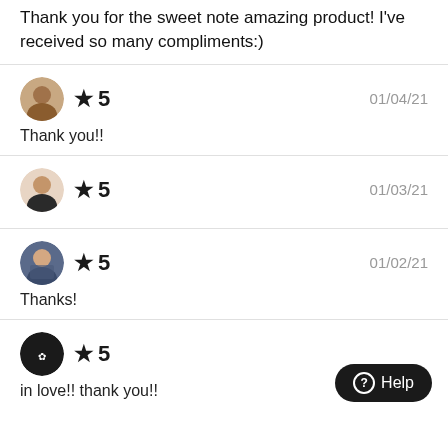Thank you for the sweet note amazing product! I've received so many compliments:)
★ 5   01/04/21
Thank you!!
★ 5   01/03/21
★ 5   01/02/21
Thanks!
★ 5
in love!! thank you!!